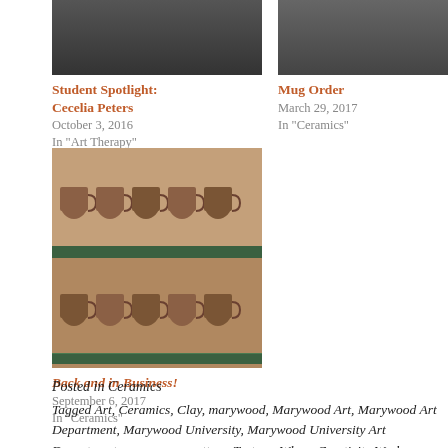[Figure (photo): Thumbnail image for Student Spotlight: Cecelia Peters post]
Student Spotlight: Cecelia Peters
October 3, 2016
In "Art Therapy"
[Figure (photo): Thumbnail image for Mug Order post]
Mug Order
March 29, 2017
In "Ceramics"
[Figure (photo): Photo of rows of brown ceramic mugs on shelves with green tags]
Back and in Business!
September 6, 2017
In "Ceramics"
Posted in Ceramics
Tagged Art, Ceramics, Clay, marywood, Marywood Art, Marywood Art Department, Marywood University, Marywood University Art Department, mug, mugs, pottery, Texture, Where Creativity Works